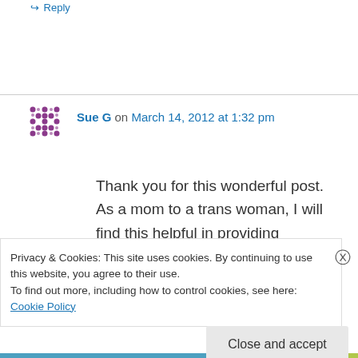↳ Reply
Sue G on March 14, 2012 at 1:32 pm
Thank you for this wonderful post. As a mom to a trans woman, I will find this helpful in providing explanations as well.
↳ Reply
Privacy & Cookies: This site uses cookies. By continuing to use this website, you agree to their use.
To find out more, including how to control cookies, see here: Cookie Policy
Close and accept